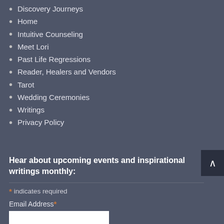Discovery Journeys
Home
Intuitive Counseling
Meet Lori
Past Life Regressions
Reader, Healers and Vendors
Tarot
Wedding Ceremonies
Writings
Privacy Policy
Hear about upcoming events and inspirational writings monthly:
* indicates required
Email Address *